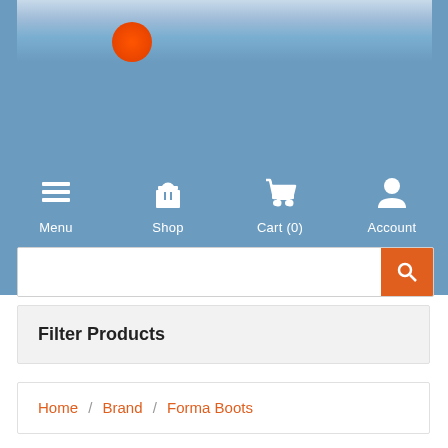[Figure (screenshot): Website header with sky banner image showing blue sky and orange/red sun logo]
Menu  Shop  Cart (0)  Account
Filter Products
Home / Brand / Forma Boots